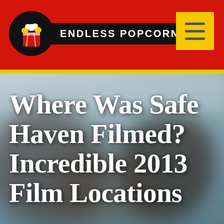ENDLESS POPCORN
[Figure (photo): Blurred background photo of people on a beach or outdoor setting, used as hero image background]
Where Was Safe Haven Filmed? Incredible 2013 Film Locations